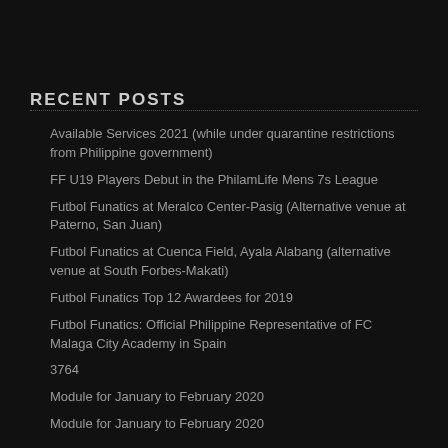RECENT POSTS
Available Services 2021 (while under quarantine restrictions from Philippine government)
FF U19 Players Debut in the PhilamLife Mens 7s League
Futbol Funatics at Meralco Center-Pasig (Alternative venue at Paterno, San Juan)
Futbol Funatics at Cuenca Field, Ayala Alabang (alternative venue at South Forbes-Makati)
Futbol Funatics Top 12 Awardees for 2019
Futbol Funatics: Official Philippine Representative of FC Malaga City Academy in Spain
3764
Module for January to February 2020
Module for January to February 2020